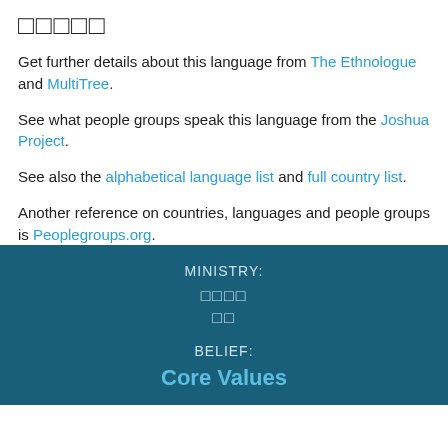□□□□□
Get further details about this language from The Ethnologue and MultiTree.
See what people groups speak this language from the Joshua Project.
See also the alphabetical language list and full country list.
Another reference on countries, languages and people groups is Peoplegroups.org.
MINISTRY:
□□□□
□□
BELIEF:
Core Values